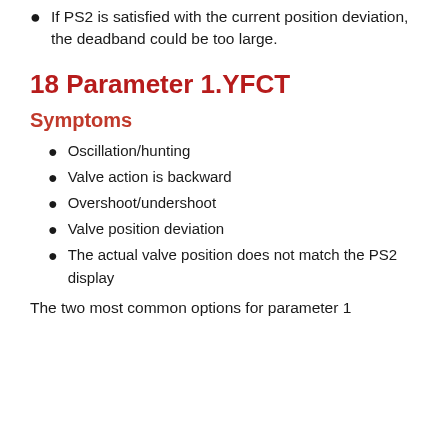If PS2 is satisfied with the current position deviation, the deadband could be too large.
18 Parameter 1.YFCT
Symptoms
Oscillation/hunting
Valve action is backward
Overshoot/undershoot
Valve position deviation
The actual valve position does not match the PS2 display
The two most common options for parameter 1